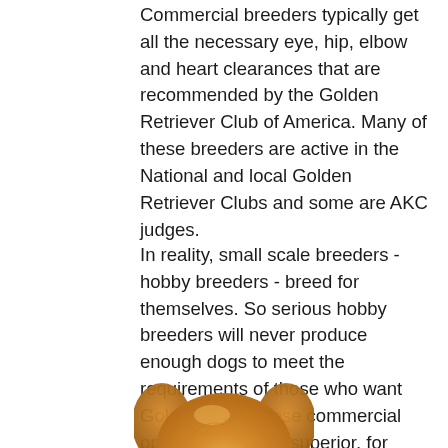Commercial breeders typically get all the necessary eye, hip, elbow and heart clearances that are recommended by the Golden Retriever Club of America. Many of these breeders are active in the National and local Golden Retriever Clubs and some are AKC judges.
In reality, small scale breeders - hobby breeders - breed for themselves. So serious hobby breeders will never produce enough dogs to meet the requirements of those who want Goldens. And these commercial operations are far superior, for dogs and people, than the puppy mills and backyard breeders.
[Figure (photo): Partial photo of a Golden Retriever dog, showing the top of the dog's head and golden fur, visible at the bottom of the page.]